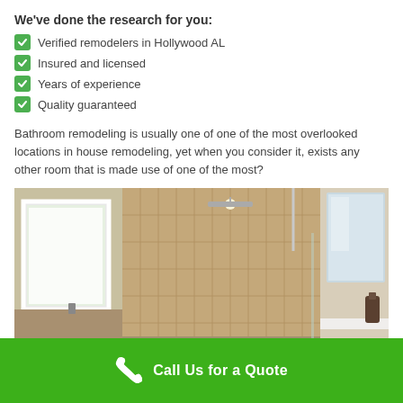We've done the research for you:
Verified remodelers in Hollywood AL
Insured and licensed
Years of experience
Quality guaranteed
Bathroom remodeling is usually one of one of the most overlooked locations in house remodeling, yet when you consider it, exists any other room that is made use of one of the most?
[Figure (photo): Interior photo of a modern bathroom with a rain shower, warm-toned tile walls, a large window with natural light, and a white countertop vanity visible on the right.]
Call Us for a Quote